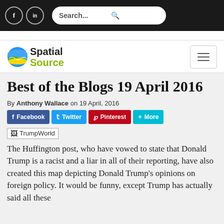f  in  Search...
[Figure (logo): Spatial Source logo with globe icon]
Best of the Blogs 19 April 2016
By Anthony Wallace on 19 April, 2016
Facebook  Twitter  Pinterest  More
[Figure (photo): TrumpWorld image placeholder (broken image icon)]
The Huffington post, who have vowed to state that Donald Trump is a racist and a liar in all of their reporting, have also created this map depicting Donald Trump’s opinions on foreign policy. It would be funny, except Trump has actually said all these